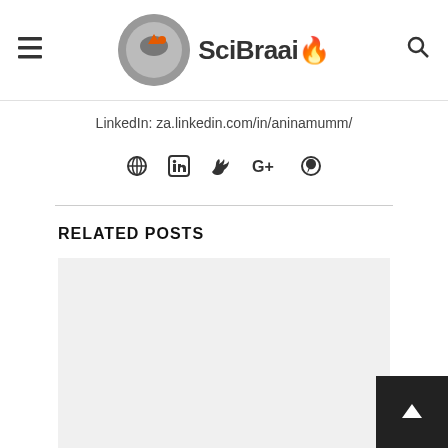SciBraai
LinkedIn: za.linkedin.com/in/aninamumm/
[Figure (other): Social media icons: globe, LinkedIn, Twitter, Google+, Pinterest]
RELATED POSTS
[Figure (photo): Image placeholder for a related post (light gray background)]